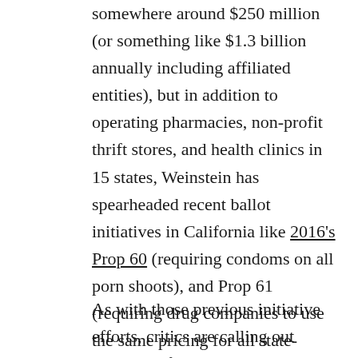somewhere around $250 million (or something like $1.3 billion annually including affiliated entities), but in addition to operating pharmacies, non-profit thrift stores, and health clinics in 15 states, Weinstein has spearheaded recent ballot initiatives in California like 2016's Prop 60 (requiring condoms on all porn shoots), and Prop 61 (requiring drug companies to use the same pricing for all state-funded entities that they use with VA), neither of which passed.
As with those previous initiative efforts, critics are calling out Weinstein for having disingenuous motives. The condom measure,